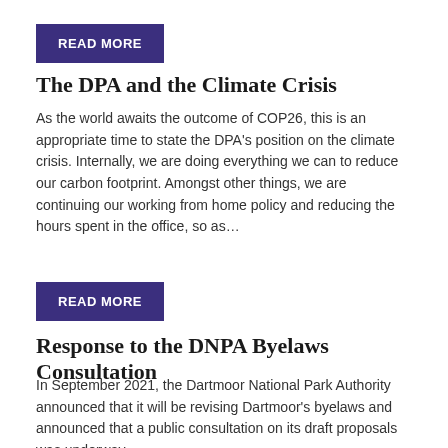READ MORE
The DPA and the Climate Crisis
As the world awaits the outcome of COP26, this is an appropriate time to state the DPA’s position on the climate crisis.  Internally, we are doing everything we can to reduce our carbon footprint. Amongst other things, we are continuing our working from home policy and reducing the hours spent in the office, so as…
READ MORE
Response to the DNPA Byelaws Consultation
In September 2021, the Dartmoor National Park Authority announced that it will be revising Dartmoor’s byelaws and announced that a public consultation on its draft proposals was underway.